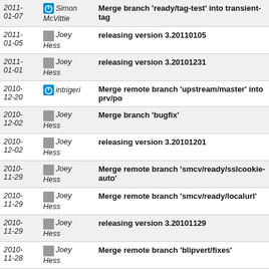| Date | Author | Message |
| --- | --- | --- |
| 2011-01-07 | Simon McVittie | Merge branch 'ready/tag-test' into transient-tag |
| 2011-01-05 | Joey Hess | releasing version 3.20110105 |
| 2011-01-01 | Joey Hess | releasing version 3.20101231 |
| 2010-12-20 | intrigeri | Merge remote branch 'upstream/master' into prv/po |
| 2010-12-02 | Joey Hess | Merge branch 'bugfix' |
| 2010-12-02 | Joey Hess | releasing version 3.20101201 |
| 2010-11-29 | Joey Hess | Merge remote branch 'smcv/ready/sslcookie-auto' |
| 2010-11-29 | Joey Hess | Merge remote branch 'smcv/ready/localurl' |
| 2010-11-29 | Joey Hess | releasing version 3.20101129 |
| 2010-11-28 | Joey Hess | Merge remote branch 'blipvert/fixes' |